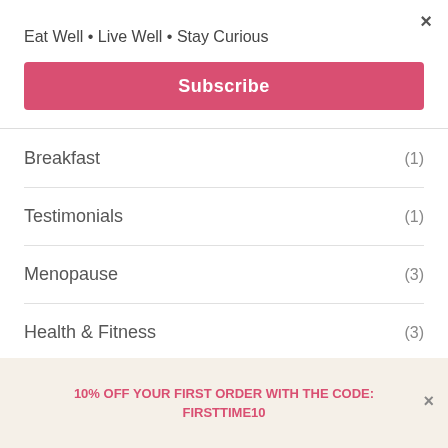×
Eat Well • Live Well • Stay Curious
Subscribe
Breakfast (1)
Testimonials (1)
Menopause (3)
Health & Fitness (3)
I like this! (4)
10% OFF YOUR FIRST ORDER WITH THE CODE: FIRSTTIME10